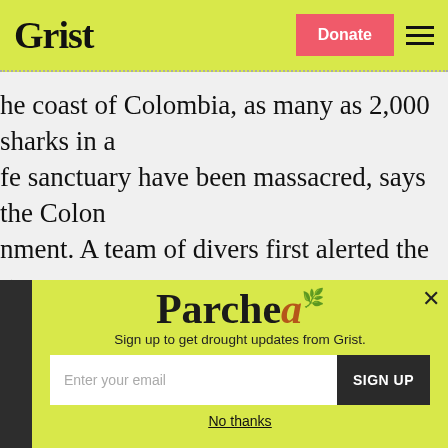Grist
he coast of Colombia, as many as 2,000 sharks in a life sanctuary have been massacred, says the Colombian government. A team of divers first alerted the government to the killings, according to the Guardian:
[Figure (screenshot): Parchea newsletter signup popup with email input and SIGN UP button on yellow-green background]
Sign up to get drought updates from Grist.
No thanks